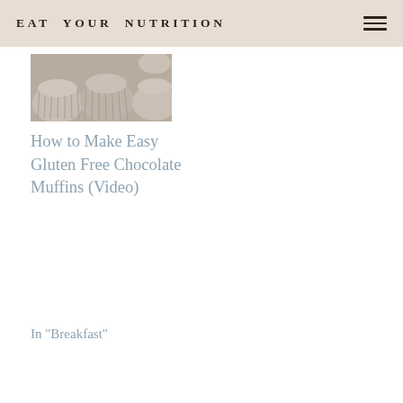EAT YOUR NUTRITION
[Figure (photo): Photo of chocolate muffins in a muffin tin viewed from above, showing ribbed paper liners, in muted beige and gray tones]
How to Make Easy Gluten Free Chocolate Muffins (Video)
In "Breakfast"